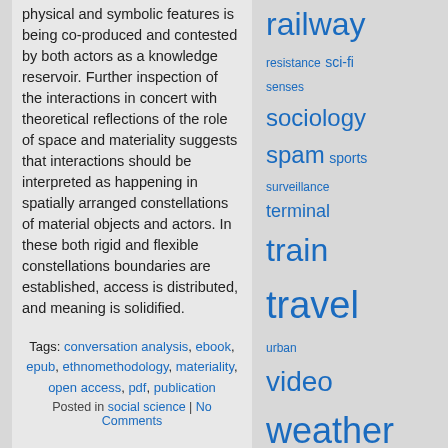physical and symbolic features is being co-produced and contested by both actors as a knowledge reservoir. Further inspection of the interactions in concert with theoretical reflections of the role of space and materiality suggests that interactions should be interpreted as happening in spatially arranged constellations of material objects and actors. In these both rigid and flexible constellations boundaries are established, access is distributed, and meaning is solidified.
Tags: conversation analysis, ebook, epub, ethnomethodology, materiality, open access, pdf, publication
Posted in social science | No Comments
railway resistance sci-fi senses sociology spam sports surveillance terminal train travel urban video weather
Recent Comments
» Max B on Phänomenolog... Stadt, Abwesenheit...
» stralau on Hindernisse in der Übertragung von